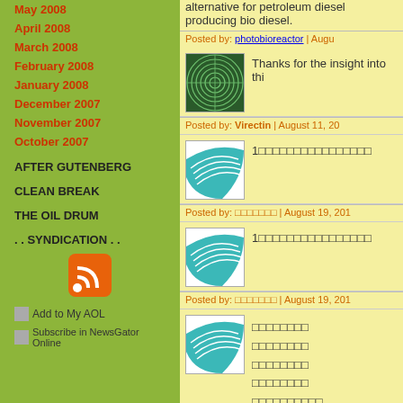May 2008
April 2008
March 2008
February 2008
January 2008
December 2007
November 2007
October 2007
AFTER GUTENBERG
CLEAN BREAK
THE OIL DRUM
. . SYNDICATION . .
[Figure (logo): RSS feed icon - orange square with white wifi/rss symbol]
Add to My AOL
Subscribe in NewsGator Online
alternative for petroleum diesel producing bio diesel.
Posted by: photobioreactor | Augu
[Figure (illustration): Green circular spiral pattern on dark green background]
Thanks for the insight into thi
Posted by: Virectin | August 11, 20
[Figure (illustration): Teal/cyan arc pattern on white background]
1□□□□□□□□□□□□□□□□
Posted by: □□□□□□□ | August 19, 201
[Figure (illustration): Teal/cyan arc pattern on white background]
1□□□□□□□□□□□□□□□□
Posted by: □□□□□□□ | August 19, 201
[Figure (illustration): Teal/cyan arc pattern on white background]
□□□□□□□□
□□□□□□□□
□□□□□□□□
□□□□□□□□
□□□□□□□□□□
□□□□□□□□